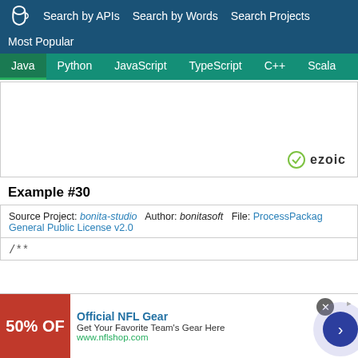Search by APIs  Search by Words  Search Projects
Most Popular
Java  Python  JavaScript  TypeScript  C++  Scala
[Figure (other): Advertisement placeholder with ezoic branding]
Example #30
Source Project: bonita-studio  Author: bonitasoft  File: ProcessPackage  General Public License v2.0
/**
[Figure (other): Advertisement banner: Official NFL Gear - Get Your Favorite Team's Gear Here - www.nflshop.com - 50% OFF]